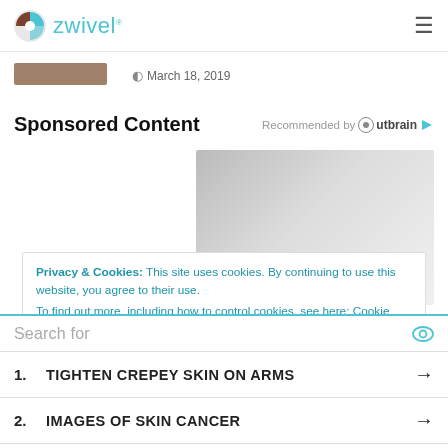zwivel (logo) — navigation header with hamburger menu
[Figure (photo): Small brown thumbnail image strip]
March 18, 2019
Sponsored Content
Recommended by Outbrain
[Figure (photo): Advertisement image — gray gradient placeholder]
Privacy & Cookies: This site uses cookies. By continuing to use this website, you agree to their use.
To find out more, including how to control cookies, see here: Cookie
Search for
1. TIGHTEN CREPEY SKIN ON ARMS →
2. IMAGES OF SKIN CANCER →